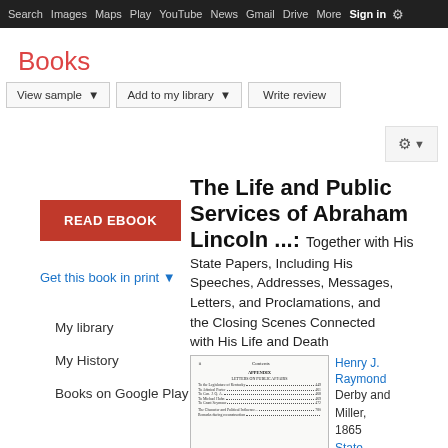Search  Images  Maps  Play  YouTube  News  Gmail  Drive  More  Sign in  ⚙
Books
View sample ▼   Add to my library ▼   Write review
[Figure (screenshot): Gear/settings icon button with dropdown arrow]
[Figure (screenshot): Red READ EBOOK button]
Get this book in print ▼
My library
My History
Books on Google Play
The Life and Public Services of Abraham Lincoln ...:
Together with His State Papers, Including His Speeches, Addresses, Messages, Letters, and Proclamations, and the Closing Scenes Connected with His Life and Death
[Figure (screenshot): Thumbnail of book page showing Contents and Appendix table of contents]
Henry J. Raymond
Derby and Miller, 1865
State...